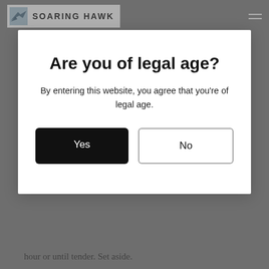SOARING HAWK
Are you of legal age?
By entering this website, you agree that you're of legal age.
Yes
No
hour or until tender. Set aside.